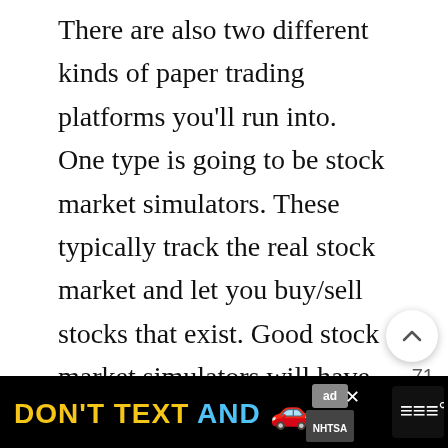There are also two different kinds of paper trading platforms you'll run into. One type is going to be stock market simulators. These typically track the real stock market and let you buy/sell stocks that exist. Good stock market simulators will have current prices, but some might have 15-20 minute delays. The second type is going to be fantasy simulators. These are like fantasy sports in that they don't track any actual index. Their movements are random, and it's almost like you're investing in an alien stock market. These simulators are like fantasy trading...
[Figure (screenshot): Mobile UI overlay elements: scroll-up chevron button, like count 71, heart button, and red search/magnify button]
[Figure (infographic): Ad banner at bottom: 'DON'T TEXT AND' with car emoji, NHTSA ad label, and media network logo on black background]